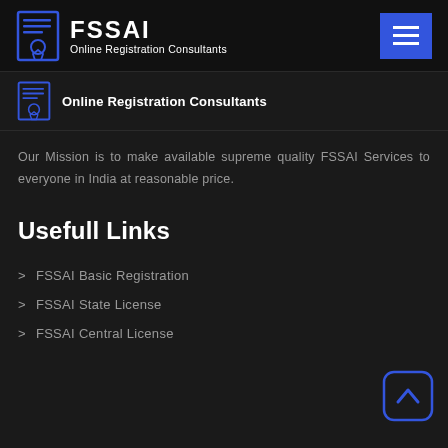FSSAI Online Registration Consultants
Online Registration Consultants
Our Mission is to make available supreme quality FSSAI Services to everyone in India at reasonable price.
Usefull Links
FSSAI Basic Registration
FSSAI State License
FSSAI Central License